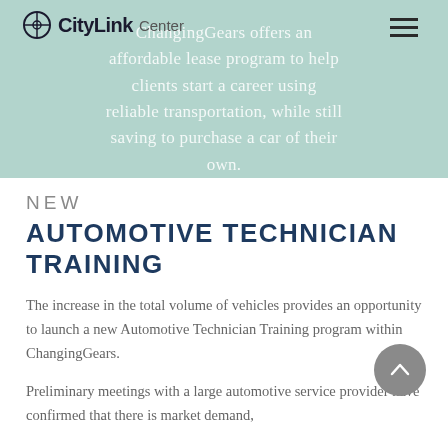[Figure (screenshot): CityLink Center logo with circular icon on teal/mint green hero banner background]
ChangingGears offers an affordable lease program to help clients start a career using reliable transportation, while still saving to purchase a car of their own.
NEW
AUTOMOTIVE TECHNICIAN TRAINING
The increase in the total volume of vehicles provides an opportunity to launch a new Automotive Technician Training program within ChangingGears.
Preliminary meetings with a large automotive service provider have confirmed that there is market demand,